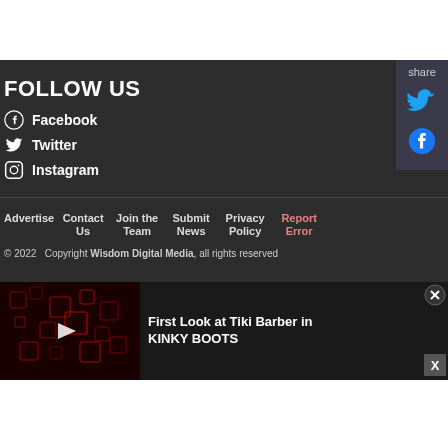FOLLOW US
Facebook
Twitter
Instagram
share
Advertise  Contact Us  Join the Team  Submit News  Privacy Policy  Report Error
© 2022  Copyright Wisdom Digital Media, all rights reserved
[Figure (screenshot): Advertisement bar: thumbnail image with a red-tinted circuit board background and a play button triangle, with text 'First Look at Tiki Barber in KINKY BOOTS' and a close button X]